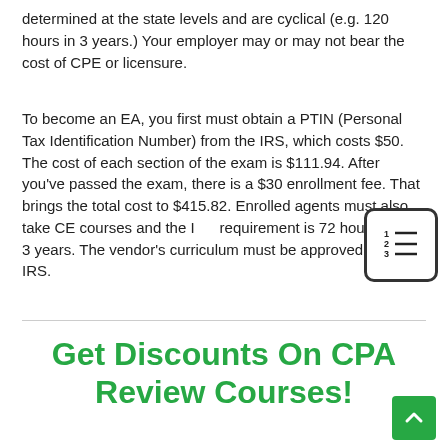determined at the state levels and are cyclical (e.g. 120 hours in 3 years.) Your employer may or may not bear the cost of CPE or licensure.
To become an EA, you first must obtain a PTIN (Personal Tax Identification Number) from the IRS, which costs $50. The cost of each section of the exam is $111.94. After you've passed the exam, there is a $30 enrollment fee. That brings the total cost to $415.82. Enrolled agents must also take CE courses and the IRS requirement is 72 hours every 3 years. The vendor's curriculum must be approved by the IRS.
[Figure (illustration): A small icon showing a numbered list (1, 2, 3) with horizontal lines, inside a rounded rectangle border]
Get Discounts On CPA Review Courses!